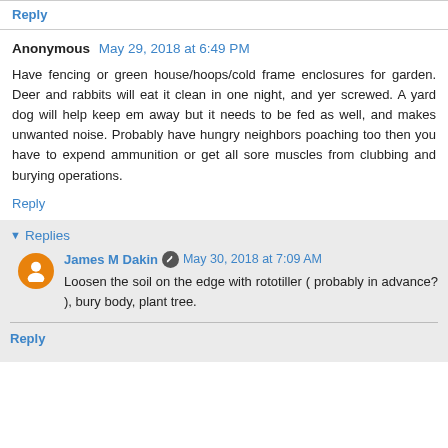Reply
Anonymous  May 29, 2018 at 6:49 PM
Have fencing or green house/hoops/cold frame enclosures for garden. Deer and rabbits will eat it clean in one night, and yer screwed. A yard dog will help keep em away but it needs to be fed as well, and makes unwanted noise. Probably have hungry neighbors poaching too then you have to expend ammunition or get all sore muscles from clubbing and burying operations.
Reply
Replies
James M Dakin  May 30, 2018 at 7:09 AM
Loosen the soil on the edge with rototiller ( probably in advance? ), bury body, plant tree.
Reply